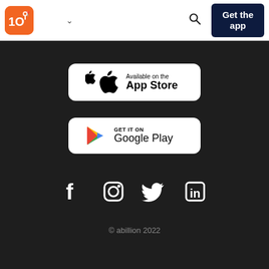[Figure (logo): abillion app logo — orange rounded square with '10' and location pin superscript, followed by chevron down arrow, search icon, and 'Get the app' dark navy button in header navigation bar]
[Figure (illustration): Apple App Store download badge — white rounded rectangle with Apple logo and text 'Available on the App Store']
[Figure (illustration): Google Play Store download badge — white rounded rectangle with colorful Google Play triangle logo and text 'GET IT ON Google Play']
[Figure (illustration): Social media icons row: Facebook, Instagram, Twitter, LinkedIn — all white icons on dark background]
© abillion 2022